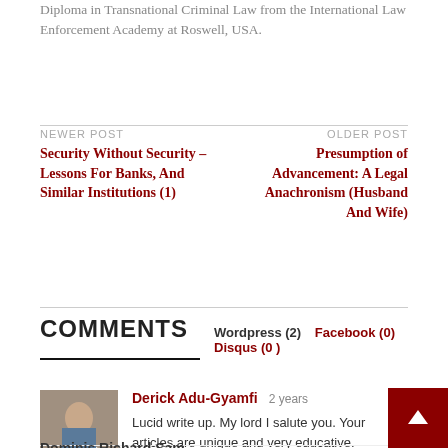Diploma in Transnational Criminal Law from the International Law Enforcement Academy at Roswell, USA.
NEWER POST
Security Without Security – Lessons For Banks, And Similar Institutions (1)
OLDER POST
Presumption of Advancement: A Legal Anachronism (Husband And Wife)
COMMENTS
Wordpress (2)   Facebook (0)   Disqus (0)
Derick Adu-Gyamfi  2 years
Lucid write up. My lord I salute you. Your articles are unique and very educative.
REPLY
Dominis Richard Sam